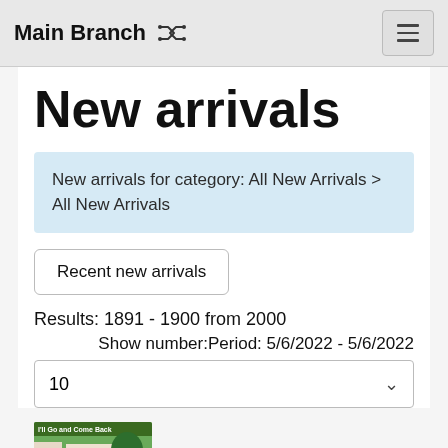Main Branch
New arrivals
New arrivals for category: All New Arrivals > All New Arrivals
Recent new arrivals
Results: 1891 - 1900 from 2000
Show number:Period: 5/6/2022 - 5/6/2022
10
[Figure (illustration): Book cover for 'I'll Go and Come Back' showing a colorful illustrated scene with figures in a courtyard]